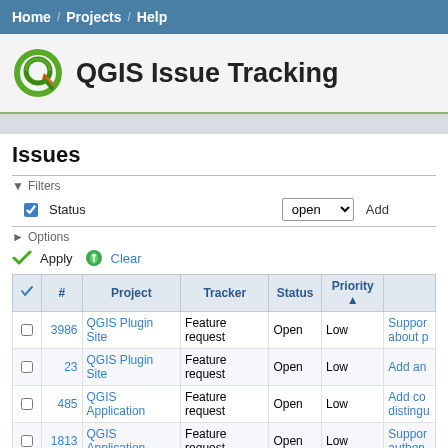Home / Projects / Help
QGIS Issue Tracking
Issues
Filters — Status: open | Options
|  | # | Project | Tracker | Status | Priority |  |
| --- | --- | --- | --- | --- | --- | --- |
|  | 3986 | QGIS Plugin Site | Feature request | Open | Low | Support about p... |
|  | 23 | QGIS Plugin Site | Feature request | Open | Low | Add an... |
|  | 485 | QGIS Application | Feature request | Open | Low | Add co... distingui... |
|  | 1813 | QGIS Application | Feature request | Open | Low | Support authen... |
|  | 1828 | QGIS Application | Feature request | Open | Low | "For in... |
|  | 2218 | QGIS Application | Feature request | Open | Low | Map sh... panning... |